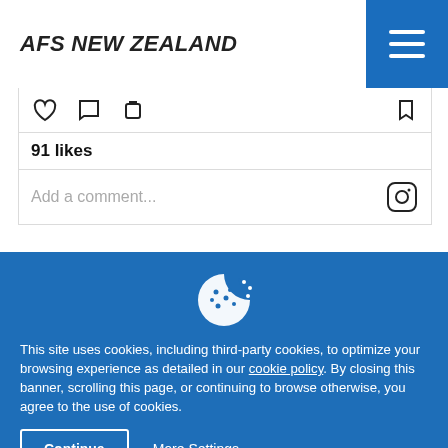AFS NEW ZEALAND
91 likes
Add a comment...
[Figure (screenshot): Cookie consent banner with cookie icon on blue background. Text: This site uses cookies, including third-party cookies, to optimize your browsing experience as detailed in our cookie policy. By closing this banner, scrolling this page, or continuing to browse otherwise, you agree to the use of cookies. Buttons: Continue, More Settings.]
This site uses cookies, including third-party cookies, to optimize your browsing experience as detailed in our cookie policy. By closing this banner, scrolling this page, or continuing to browse otherwise, you agree to the use of cookies.
Continue
More Settings